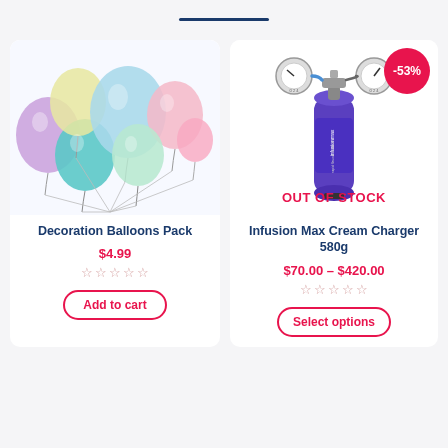[Figure (photo): Colorful pastel metallic balloons bunch - product image for Decoration Balloons Pack]
Decoration Balloons Pack
$4.99
☆☆☆☆☆
Add to cart
[Figure (photo): Infusion Max cream charger 580g blue tank with regulator gauge - product photo with -53% badge and OUT OF STOCK label]
Infusion Max Cream Charger 580g
$70.00 – $420.00
☆☆☆☆☆
Select options